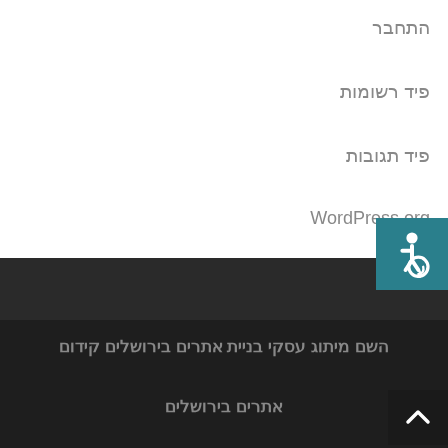התחבר
פיד רשומות
פיד תגובות
WordPress.org
[Figure (illustration): Accessibility icon - wheelchair symbol in white on teal/dark cyan background]
[Figure (illustration): Scroll to top button - upward caret arrow on dark background]
השם מיתוג עסקי בניית אתרים בירושלים קידום
אתרים בירושלים